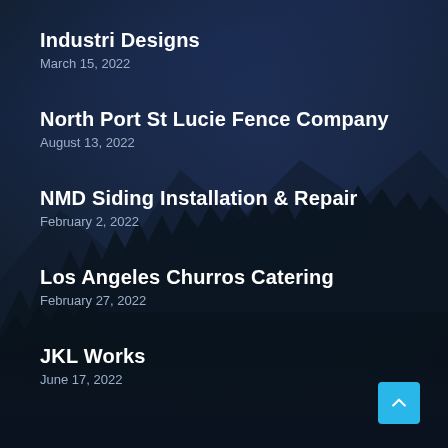Industri Designs
March 15, 2022
North Port St Lucie Fence Company
August 13, 2022
NMD Siding Installation & Repair
February 2, 2022
Los Angeles Churros Catering
February 27, 2022
JKL Works
June 17, 2022